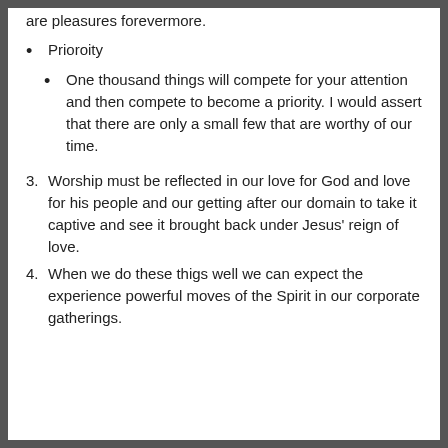are pleasures forevermore.
Prioroity
One thousand things will compete for your attention and then compete to become a priority. I would assert that there are only a small few that are worthy of our time.
3. Worship must be reflected in our love for God and love for his people and our getting after our domain to take it captive and see it brought back under Jesus' reign of love.
4. When we do these thigs well we can expect the experience powerful moves of the Spirit in our corporate gatherings.